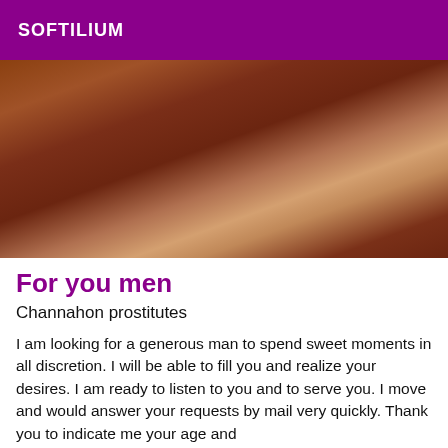SOFTILIUM
[Figure (photo): Close-up photo with dark warm tones]
For you men
Channahon prostitutes
I am looking for a generous man to spend sweet moments in all discretion. I will be able to fill you and realize your desires. I am ready to listen to you and to serve you. I move and would answer your requests by mail very quickly. Thank you to indicate me your age and